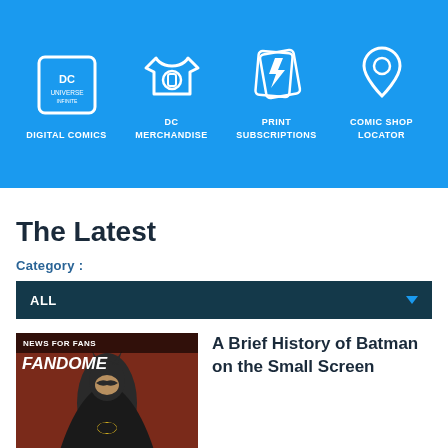[Figure (infographic): DC website navigation header bar with blue background showing four icons: DC Universe Infinite logo (digital comics), t-shirt icon with lantern symbol (DC Merchandise), lightning bolt cards icon (Print Subscriptions), and map pin icon (Comic Shop Locator). Labels beneath each icon in white uppercase text.]
The Latest
Category :
ALL
[Figure (photo): Article thumbnail showing Batman (Adam West era) in costume with DC FanDome branding overlay. 'NEWS FOR FANS' badge at top. Background is dark red/brown.]
A Brief History of Batman on the Small Screen